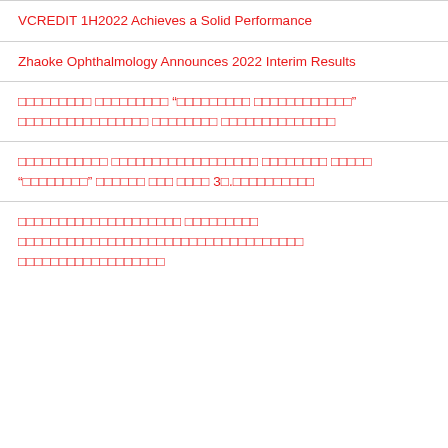VCREDIT 1H2022 Achieves a Solid Performance
Zhaoke Ophthalmology Announces 2022 Interim Results
□□□□□□□□□ □□□□□□□□□ “□□□□□□□□□ □□□□□□□□□□□□” □□□□□□□□□□□□□□□□ □□□□□□□□ □□□□□□□□□□□□□□
□□□□□□□□□□□ □□□□□□□□□□□□□□□□□□ □□□□□□□□ □□□□□ “□□□□□□□□” □□□□□□ □□□ □□□□ 3□.□□□□□□□□□□
□□□□□□□□□□□□□□□□□□□□ □□□□□□□□□ □□□□□□□□□□□□□□□□□□□□□□□□□□□□□□□□□□ □□□□□□□□□□□□□□□□□□